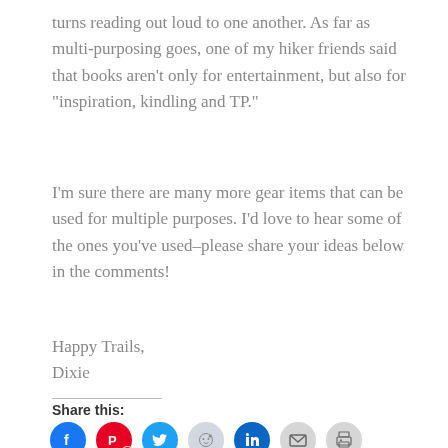turns reading out loud to one another. As far as multi-purposing goes, one of my hiker friends said that books aren't only for entertainment, but also for “inspiration, kindling and TP.”
I’m sure there are many more gear items that can be used for multiple purposes. I’d love to hear some of the ones you’ve used–please share your ideas below in the comments!
Happy Trails,
Dixie
Share this:
[Figure (other): Row of social media share icons: Facebook, Pinterest (with badge 2), Twitter, Reddit, LinkedIn, Email, Print]